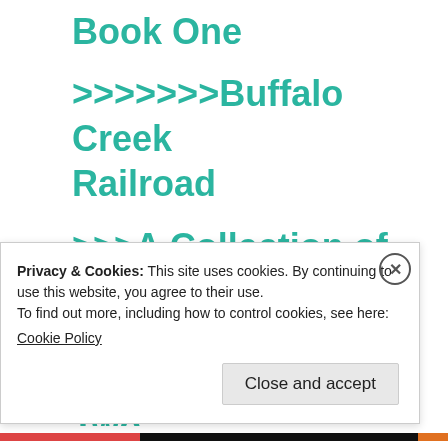Book One
>>>>>>>Buffalo Creek Railroad
>>>A Collection of Short Stories about Railroads – Book Two
Privacy & Cookies: This site uses cookies. By continuing to use this website, you agree to their use.
To find out more, including how to control cookies, see here:
Cookie Policy
Close and accept